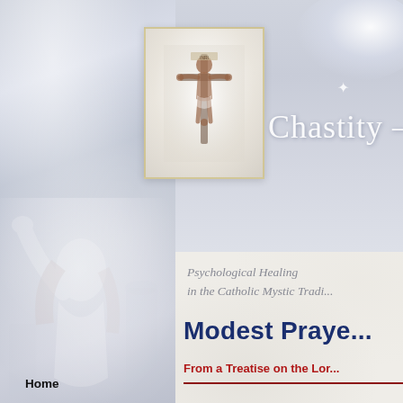[Figure (photo): Website header with crucifix image box and church/statue background. Left column shows ghostly church columns and a woman figure looking upward. Right side shows 'Chastity —' title in white serif text on blue-grey gradient background.]
Chastity —
Psychological Healing in the Catholic Mystic Tradi...
Modest Praye...
From a Treatise on the Lor...
Home